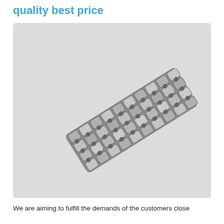quality best price
[Figure (photo): Close-up photograph of a metal roller chain (bicycle/industrial chain) lying diagonally on a light gray background, showing the interlinked metal plates and rollers in detail.]
We are aiming to fulfill the demands of the customers close